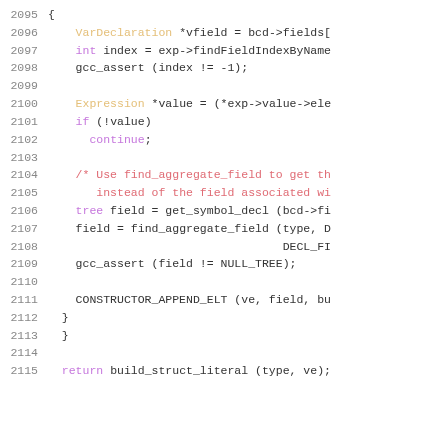[Figure (screenshot): Source code listing lines 2095-2115 in a code editor, showing C/C++ code with syntax highlighting. Light background with colored keywords, types, function calls, and comments.]